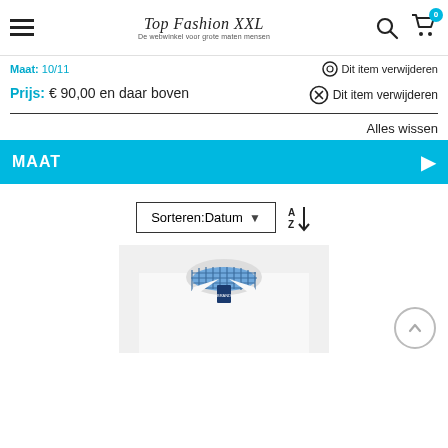Top Fashion XXL — De webwinkel voor grote maten mensen
Maat: 10/11 ⊙ Dit item verwijderen
Prijs: € 90,00 en daar boven ⊗ Dit item verwijderen
Alles wissen
MAAT
Sorteren:Datum
[Figure (photo): Close-up of a white dress shirt with blue checkered collar lining]